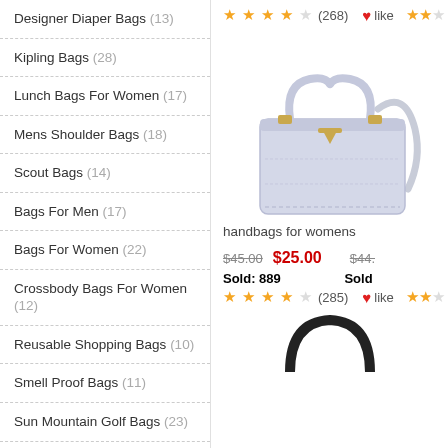Designer Diaper Bags (13)
Kipling Bags (28)
Lunch Bags For Women (17)
Mens Shoulder Bags (18)
Scout Bags (14)
Bags For Men (17)
Bags For Women (22)
Crossbody Bags For Women (12)
Reusable Shopping Bags (10)
Smell Proof Bags (11)
Sun Mountain Golf Bags (23)
Titleist Golf Bags (28)
Women Bags (17)
Women'S Crossbody Bags (19)
Baby Diaper Bags (15)
Baseball Bags (4)
★★★★☆ (268) ♥like ★★★
[Figure (photo): Light gray/lavender structured handbag with top handles, gold hardware V-shaped clasp, and crossbody strap]
handbags for womens
$45.00  $25.00   $44.
Sold: 889   Sold
★★★★☆ (285) ♥like ★★★
[Figure (photo): Partial view of a dark/black handbag at the bottom of the page]